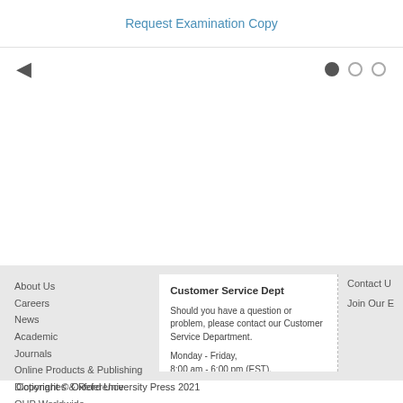Request Examination Copy
About Us
Careers
News
Academic
Journals
Online Products & Publishing
Dictionaries & Reference
OUP Worldwide
Oxford University
Customer Service Dept
Should you have a question or problem, please contact our Customer Service Department.
Monday - Friday, 8:00 am - 6:00 pm (EST).
custserv.us@oup.com
Phone: 1-800-445-9714
Contact Us
Join Our E
Copyright © Oxford University Press 2021